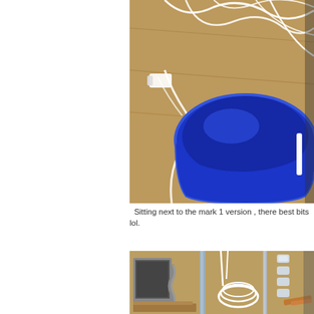[Figure (photo): A blue plastic bucket or bowl photographed from above on a wooden surface with white cables/wires running around it. A white device or connector is visible on the left side.]
Sitting next to the mark 1 version , there best bits lol.
[Figure (photo): A workbench or table with various equipment including what appears to be a computer monitor, coiled white cables, metal stands or poles, and other workshop items on a wooden surface.]